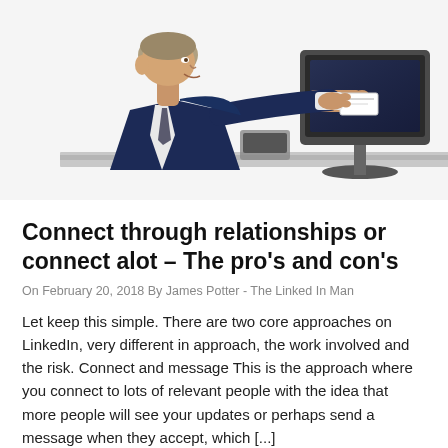[Figure (photo): A businessman in a suit sitting at a desk reaching out to take a business card being offered by a hand coming through a computer monitor screen, symbolizing online networking.]
Connect through relationships or connect alot – The pro's and con's
On February 20, 2018 By James Potter - The Linked In Man
Let keep this simple. There are two core approaches on LinkedIn, very different in approach, the work involved and the risk. Connect and message This is the approach where you connect to lots of relevant people with the idea that more people will see your updates or perhaps send a message when they accept, which [...]